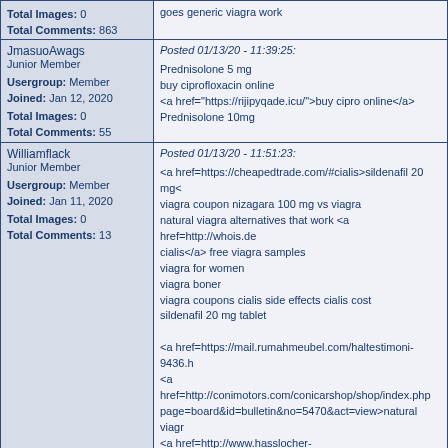| User | Post |
| --- | --- |
| Total Images: 0
Total Comments: 863 | goes generic viagra work |
| JmasuoAwags
Junior Member
Usergroup: Member
Joined: Jan 12, 2020
Total Images: 0
Total Comments: 55 | Posted 01/13/20 - 11:39:25:
Prednisolone 5 mg
buy ciprofloxacin online
<a href="https://rijipyqade.icu/">buy cipro online</a>
Prednisolone 10mg |
| Williamflack
Junior Member
Usergroup: Member
Joined: Jan 11, 2020
Total Images: 0
Total Comments: 13 | Posted 01/13/20 - 11:51:23:
<a href=https://cheapedtrade.com/#cialis>sildenafil 20 mg<
viagra coupon nizagara 100 mg vs viagra
natural viagra alternatives that work <a href=http://whois.de
cialis</a> free viagra samples
viagra for women
viagra boner
viagra coupons cialis side effects cialis cost
sildenafil 20 mg tablet

<a href=https://mail.rumahmeubel.com/haltestimoni-9436.h
<a href=http://conimotors.com/conicarshop/shop/index.php
page=board&id=bulletin&no=5470&act=view>natural viagr
<a href=http://www.hasslocher-burnout.de/2009/index.php
ls wk</a>
<a href=http://mail.rumahmeubel.com/haltestimoni-53219.
1a33ad9 |
| Erneztowhorp
New
Usergroup: Member
Joined: Jan 13, 2020
Total Images: 0 | Posted 01/13/20 - 11:53:22:
generic viagra india
http://viagrawithoutdoctorbest.com - generic over the coun
viagra content management powered by cutenews
<a href="http://viagrawithoutdoctorbest.com">is generic via
</a> - viagra 10 mg effectiveness users browsing this |